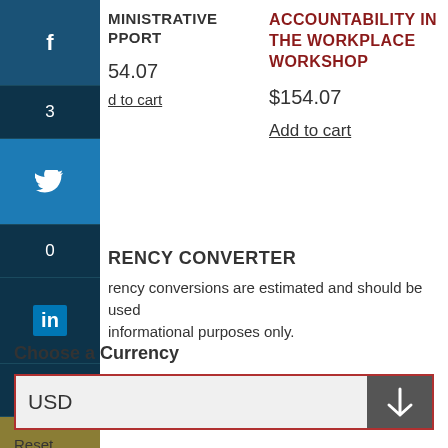ADMINISTRATIVE SUPPORT
$154.07
Add to cart
ACCOUNTABILITY IN THE WORKPLACE WORKSHOP
$154.07
Add to cart
CURRENCY CONVERTER
Currency conversions are estimated and should be used for informational purposes only.
Choose a Currency
USD
Reset